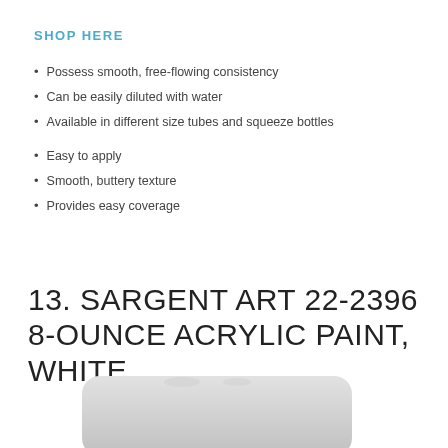SHOP HERE
Possess smooth, free-flowing consistency
Can be easily diluted with water
Available in different size tubes and squeeze bottles
Easy to apply
Smooth, buttery texture
Provides easy coverage
13. SARGENT ART 22-2396 8-OUNCE ACRYLIC PAINT, WHITE
[Figure (photo): White squeeze bottle of Sargent Art acrylic paint, partially cropped at bottom of page]